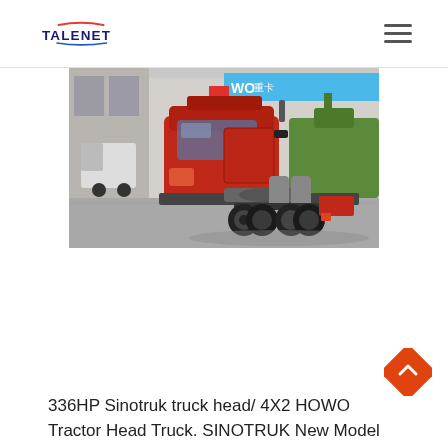TALENET
[Figure (photo): Red Sinotruk HOWO tractor head truck (6x4 configuration) photographed from the rear-side angle in a dealership yard. Multiple trucks and green machinery visible in the background under a blue and red HOWO signage banner.]
336HP Sinotruk truck head/ 4X2 HOWO Tractor Head Truck. SINOTRUK New Model